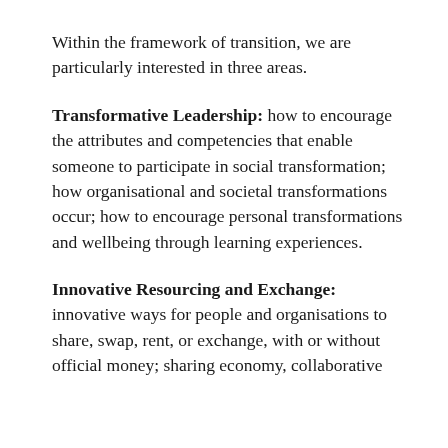Within the framework of transition, we are particularly interested in three areas.
Transformative Leadership: how to encourage the attributes and competencies that enable someone to participate in social transformation; how organisational and societal transformations occur; how to encourage personal transformations and wellbeing through learning experiences.
Innovative Resourcing and Exchange: innovative ways for people and organisations to share, swap, rent, or exchange, with or without official money; sharing economy, collaborative